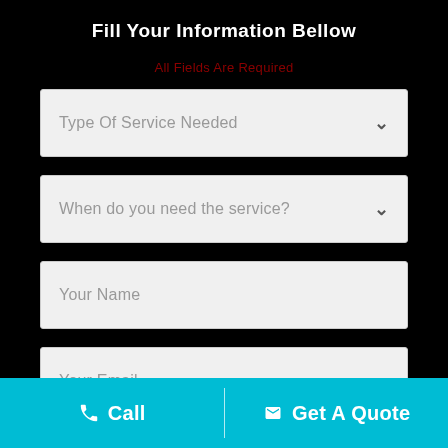Fill Your Information Bellow
All Fields Are Required
Type Of Service Needed
When do you need the service?
Your Name
Your Email
Call  Get A Quote